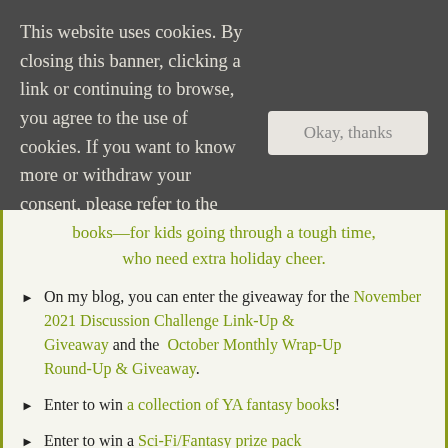This website uses cookies. By closing this banner, clicking a link or continuing to browse, you agree to the use of cookies. If you want to know more or withdraw your consent, please refer to the cookie policy.
books—for kids going through a tough time, who need extra holiday cheer.
On my blog, you can enter the giveaway for the November 2021 Discussion Challenge Link-Up & Giveaway and the October Monthly Wrap-Up Round-Up & Giveaway.
Enter to win a collection of YA fantasy books!
Enter to win a Sci-Fi/Fantasy prize pack
Shannon @ It Starts at Midnight is celebrating her 8th blogoversary with a giveaway!